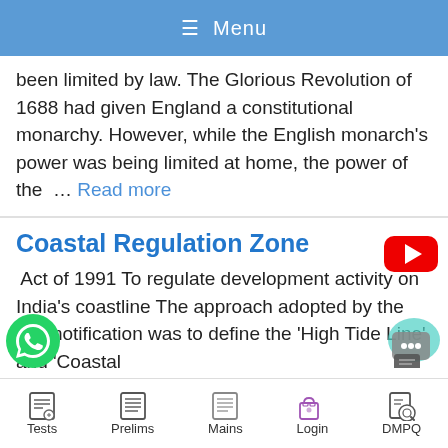≡ Menu
been limited by law. The Glorious Revolution of 1688 had given England a constitutional monarchy. However, while the English monarch's power was being limited at home, the power of the … Read more
Coastal Regulation Zone
Act of 1991 To regulate development activity on India's coastline The approach adopted by the first notification was to define the 'High Tide Line' and 'Coastal
Tests  Prelims  Mains  Login  DMPQ